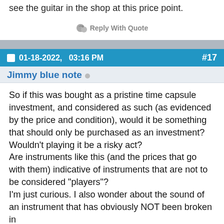see the guitar in the shop at this price point.
Reply With Quote
01-18-2022,   03:16 PM   #17
Jimmy blue note
So if this was bought as a pristine time capsule investment, and considered as such (as evidenced by the price and condition), would it be something that should only be purchased as an investment?
Wouldn't playing it be a risky act?
Are instruments like this (and the prices that go with them) indicative of instruments that are not to be considered "players"?
I'm just curious. I also wonder about the sound of an instrument that has obviously NOT been broken in